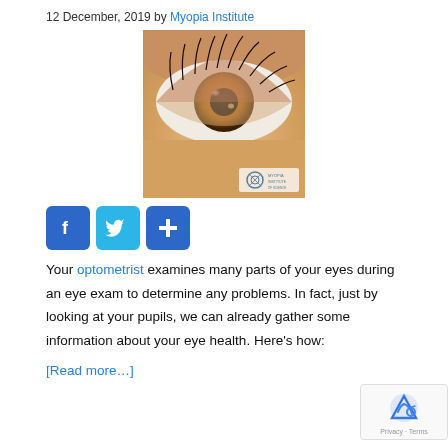12 December, 2019 by Myopia Institute
[Figure (photo): Close-up macro photo of a human eye with amber/brown iris and long eyelashes, with a small logo/watermark in the bottom right corner]
[Figure (infographic): Three social sharing buttons: Facebook (blue, f icon), Twitter (light blue, bird icon), and a plus/share button (blue, + icon)]
Your optometrist examines many parts of your eyes during an eye exam to determine any problems. In fact, just by looking at your pupils, we can already gather some information about your eye health. Here’s how:
[Read more…]